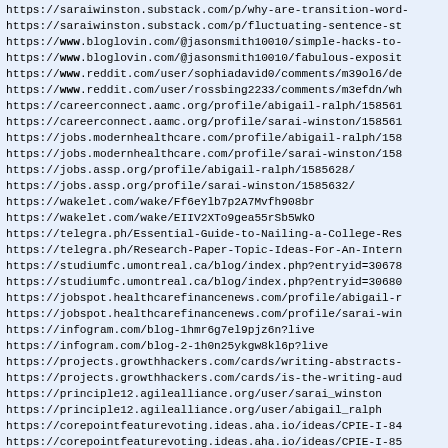https://saraiwinston.substack.com/p/why-are-transition-word-
https://saraiwinston.substack.com/p/fluctuating-sentence-st
https://www.bloglovin.com/@jasonsmith10010/simple-hacks-to-
https://www.bloglovin.com/@jasonsmith10010/fabulous-exposit
https://www.reddit.com/user/sophiadavid0/comments/m39ol6/de
https://www.reddit.com/user/rossbing2233/comments/m3efdn/wh
https://careerconnect.aamc.org/profile/abigail-ralph/158561
https://careerconnect.aamc.org/profile/sarai-winston/158561
https://jobs.modernhealthcare.com/profile/abigail-ralph/158
https://jobs.modernhealthcare.com/profile/sarai-winston/158
https://jobs.assp.org/profile/abigail-ralph/1585628/
https://jobs.assp.org/profile/sarai-winston/1585632/
https://wakelet.com/wake/Ff6eYlb7p2A7Mvfh908br
https://wakelet.com/wake/EIIV2XTo9gea55rSb5WkO
https://telegra.ph/Essential-Guide-to-Nailing-a-College-Res
https://telegra.ph/Research-Paper-Topic-Ideas-For-An-Intern
https://studiumfc.umontreal.ca/blog/index.php?entryid=30678
https://studiumfc.umontreal.ca/blog/index.php?entryid=30680
https://jobspot.healthcarefinancenews.com/profile/abigail-r
https://jobspot.healthcarefinancenews.com/profile/sarai-win
https://infogram.com/blog-1hmr6g7el9pjz6n?live
https://infogram.com/blog-2-1h0n25ykgw8kl6p?live
https://projects.growthhackers.com/cards/writing-abstracts-
https://projects.growthhackers.com/cards/is-the-writing-aud
https://principle12.agilealliance.org/user/sarai_winston
https://principle12.agilealliance.org/user/abigail_ralph
https://corepointfeaturevoting.ideas.aha.io/ideas/CPIE-I-84
https://corepointfeaturevoting.ideas.aha.io/ideas/CPIE-I-85
https://saraiwinston.micro.blog/2021/03/12/main-attributes-
https://saraiwinston.micro.blog/2021/03/12/all-about-casp